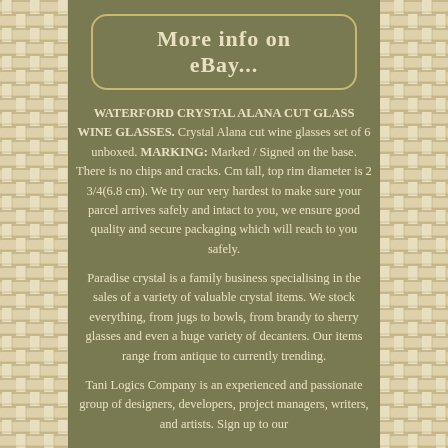[Figure (other): Woven basket-weave pattern border on left and right sides of page]
More info on eBay...
WATERFORD CRYSTAL ALANA CUT GLASS WINE GLASSES. Crystal Alana cut wine glasses set of 6 unboxed. MARKING: Marked / Signed on the base. There is no chips and cracks. Cm tall, top rim diameter is 2 3/4(6.8 cm). We try our very hardest to make sure your parcel arrives safely and intact to you, we ensure good quality and secure packaging which will reach to you safely.
Paradise crystal is a family business specialising in the sales of a variety of valuable crystal items. We stock everything, from jugs to bowls, from brandy to sherry glasses and even a huge variety of decanters. Our items range from antique to currently trending.
Tani Logics Company is an experienced and passionate group of designers, developers, project managers, writers, and artists. Sign up to our